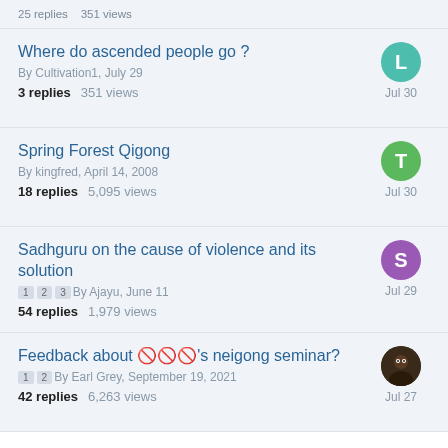25 replies   351 views
Where do ascended people go ? | By Cultivation1, July 29 | 3 replies 351 views | Jul 30
Spring Forest Qigong | By kingfred, April 14, 2008 | 18 replies 5,095 views | Jul 30
Sadhguru on the cause of violence and its solution | By Ajayu, June 11 | 54 replies 1,979 views | Jul 29
Feedback about [name]'s neigong seminar? | By Earl Grey, September 19, 2021 | 42 replies 6,263 views | Jul 27